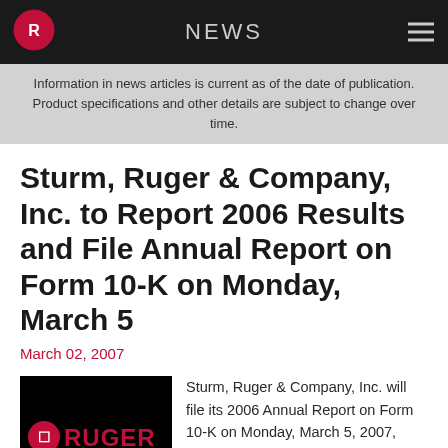NEWS
Information in news articles is current as of the date of publication. Product specifications and other details are subject to change over time.
Sturm, Ruger & Company, Inc. to Report 2006 Results and File Annual Report on Form 10-K on Monday, March 5
March 02, 2007
[Figure (logo): Ruger logo on black background with red phoenix emblem and RUGER text in red]
Sturm, Ruger & Company, Inc. will file its 2006 Annual Report on Form 10-K on Monday, March 5, 2007, after the close of the stock market. The Form 10-K will be